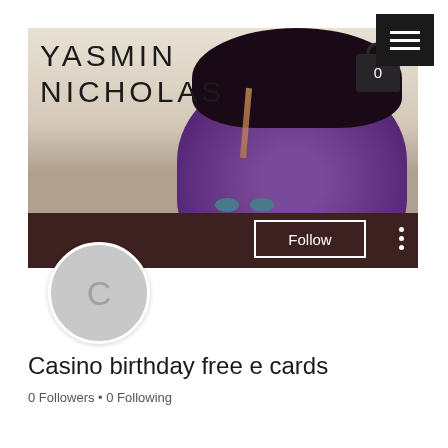[Figure (screenshot): Website header screenshot for Yasmin Nicholas with hamburger menu button in top right corner, banner image of a person with purple face paint and 'YASMIN NICHOLAS' text overlay, a shopping bag icon, a dark brown lower bar, a circular avatar with letter C, a Follow button, and three-dot menu icon.]
Casino birthday free e cards
0 Followers • 0 Following